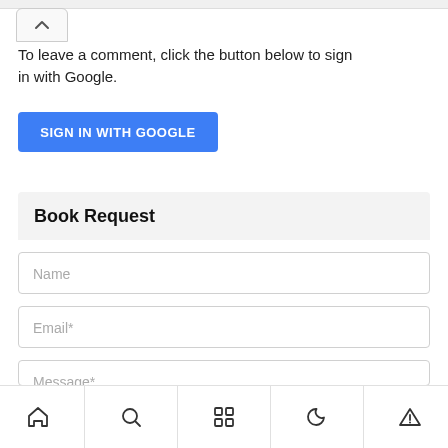[Figure (screenshot): Collapse button with upward chevron arrow at top left]
To leave a comment, click the button below to sign in with Google.
[Figure (screenshot): Blue button labeled SIGN IN WITH GOOGLE]
Book Request
Name
Email*
Message*
[Figure (screenshot): Mobile bottom navigation bar with home, search, grid, moon, and triangle icons]